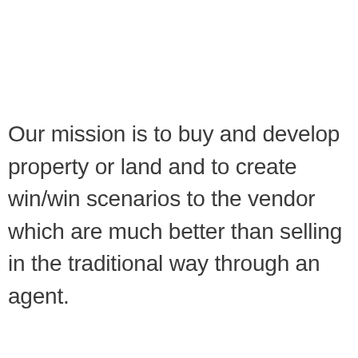Our mission is to buy and develop property or land and to create win/win scenarios to the vendor which are much better than selling in the traditional way through an agent.